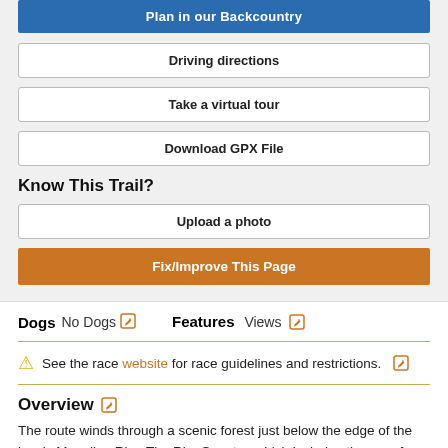Plan in our Backcountry
Driving directions
Take a virtual tour
Download GPX File
Know This Trail?
Upload a photo
Fix/Improve This Page
Dogs  No Dogs   Features  Views
See the race website for race guidelines and restrictions.
Overview
The route winds through a scenic forest just below the edge of the iconic Mogollon Rim. The Rim Country, which includes the area from Pine-Strawberry through Payson to Christopher Creek, is within the largest stand of beautiful Ponderosa Pine trees in the world.
Show More